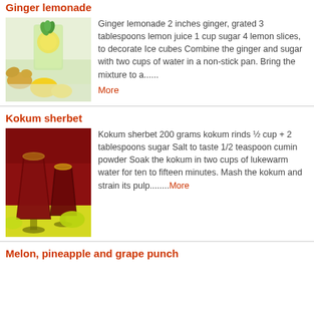Ginger lemonade
[Figure (photo): A glass of ginger lemonade with lemon slices and ginger root garnish]
Ginger lemonade 2 inches ginger, grated 3 tablespoons lemon juice 1 cup sugar 4 lemon slices, to decorate Ice cubes Combine the ginger and sugar with two cups of water in a non-stick pan. Bring the mixture to a......
More
Kokum sherbet
[Figure (photo): Two dark red kokum sherbet drinks in stemmed glasses on a yellow background]
Kokum sherbet 200 grams kokum rinds ½ cup + 2 tablespoons sugar Salt to taste 1/2 teaspoon cumin powder Soak the kokum in two cups of lukewarm water for ten to fifteen minutes. Mash the kokum and strain its pulp........More
Melon, pineapple and grape punch